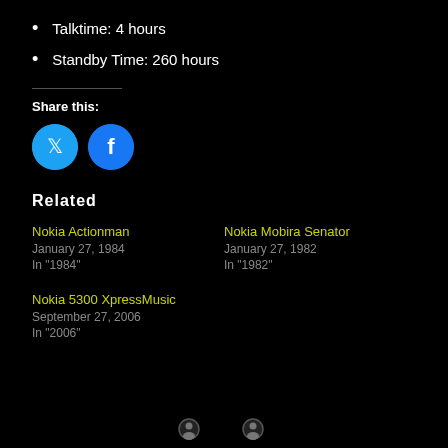Talktime: 4 hours
Standby Time: 260 hours
Share this:
[Figure (infographic): Twitter and Facebook share button icons as blue circles]
Related
Nokia Actionman
January 27, 1984
In "1984"
Nokia Mobira Senator
January 27, 1982
In "1982"
Nokia 5300 XpressMusic
September 27, 2006
In "2006"